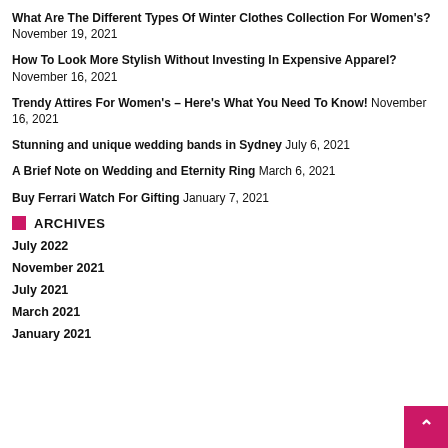What Are The Different Types Of Winter Clothes Collection For Women's? November 19, 2021
How To Look More Stylish Without Investing In Expensive Apparel? November 16, 2021
Trendy Attires For Women's – Here's What You Need To Know! November 16, 2021
Stunning and unique wedding bands in Sydney July 6, 2021
A Brief Note on Wedding and Eternity Ring March 6, 2021
Buy Ferrari Watch For Gifting January 7, 2021
ARCHIVES
July 2022
November 2021
July 2021
March 2021
January 2021